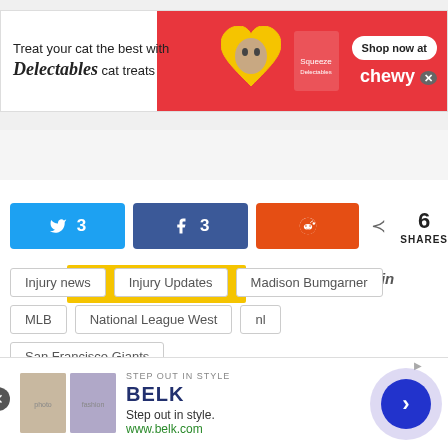[Figure (infographic): Chewy advertisement banner: 'Treat your cat the best with Delectables cat treats' with cat image and shop now button on red background]
[Figure (infographic): Partial yellow advertisement bar with LinkedIn 'in' badge]
3  3  6 SHARES (Twitter, Facebook, Reddit share buttons)
Injury news
Injury Updates
Madison Bumgarner
MLB
National League West
nl
San Francisco Giants
[Figure (infographic): Belk advertisement: 'Step out in style. www.belk.com' with photos of fashion items and a navigation arrow circle]